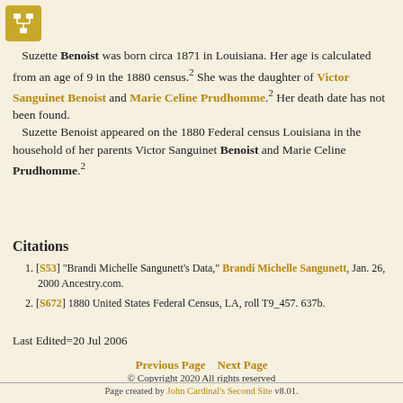[Figure (logo): Gold/amber square icon with white family tree/org-chart symbol]
Suzette Benoist was born circa 1871 in Louisiana. Her age is calculated from an age of 9 in the 1880 census.2 She was the daughter of Victor Sanguinet Benoist and Marie Celine Prudhomme.2 Her death date has not been found. Suzette Benoist appeared on the 1880 Federal census Louisiana in the household of her parents Victor Sanguinet Benoist and Marie Celine Prudhomme.2
Citations
[S53] "Brandi Michelle Sangunett's Data," Brandi Michelle Sangunett, Jan. 26, 2000 Ancestry.com.
[S672] 1880 United States Federal Census, LA, roll T9_457. 637b.
Last Edited=20 Jul 2006
Previous Page    Next Page
© Copyright 2020 All rights reserved
Compiler: Ann Fox Gulbransen, Sharon Center, OH
Site updated on 8 Aug 2020
Page created by John Cardinal's Second Site v8.01.